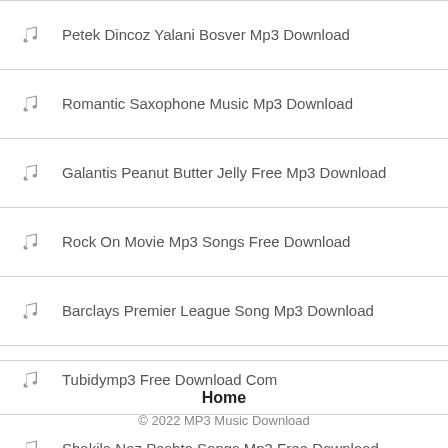Petek Dincoz Yalani Bosver Mp3 Download
Romantic Saxophone Music Mp3 Download
Galantis Peanut Butter Jelly Free Mp3 Download
Rock On Movie Mp3 Songs Free Download
Barclays Premier League Song Mp3 Download
Tubidymp3 Free Download Com
Shakila Naz Pashto Songs Mp3 Free Download
Home
© 2022 MP3 Music Download